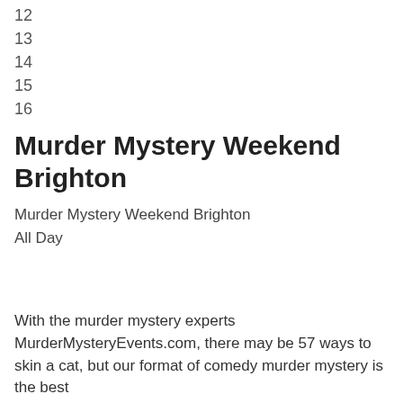12
13
14
15
16
Murder Mystery Weekend Brighton
Murder Mystery Weekend Brighton
All Day
With the murder mystery experts MurderMysteryEvents.com, there may be 57 ways to skin a cat, but our format of comedy murder mystery is the best